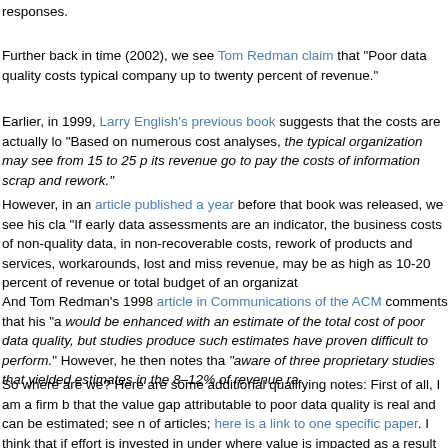responses.
Further back in time (2002), we see Tom Redman claim that "Poor data quality costs typical company up to twenty percent of revenue."
Earlier, in 1999, Larry English's previous book suggests that the costs are actually lo "Based on numerous cost analyses, the typical organization may see from 15 to 25 p its revenue go to pay the costs of information scrap and rework."
However, in an article published a year before that book was released, we see his cla "If early data assessments are an indicator, the business costs of non-quality data, in non-recoverable costs, rework of products and services, workarounds, lost and miss revenue, may be as high as 10-20 percent of revenue or total budget of an organizat
And Tom Redman's 1998 article in Communications of the ACM comments that his "a would be enhanced with an estimate of the total cost of poor data quality, but studies produce such estimates have proven difficult to perform." However, he then notes tha "aware of three proprietary studies that yielded estimates in the 8–12% of revenue ra
So where are we? Here are some additional qualifying notes: First of all, I am a firm b that the value gap attributable to poor data quality is real and can be estimated; see n of articles; here is a link to one specific paper. I think that if effort is invested in under where value is impacted as a result of data issues, you can estimate the value of improvements.